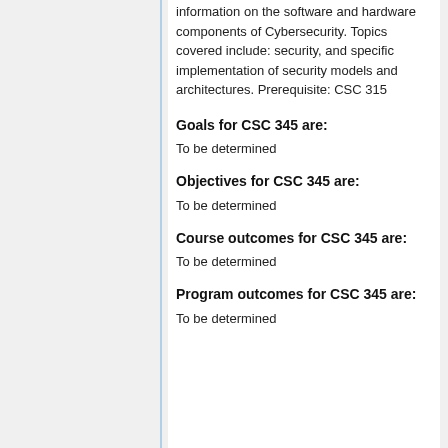information on the software and hardware components of Cybersecurity. Topics covered include: security, and specific implementation of security models and architectures. Prerequisite: CSC 315
Goals for CSC 345 are:
To be determined
Objectives for CSC 345 are:
To be determined
Course outcomes for CSC 345 are:
To be determined
Program outcomes for CSC 345 are:
To be determined